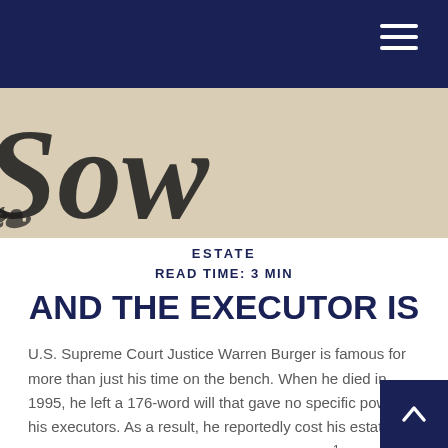ESTATE
READ TIME: 3 MIN
AND THE EXECUTOR IS
U.S. Supreme Court Justice Warren Burger is famous for more than just his time on the bench. When he died in 1995, he left a 176-word will that gave no specific power to his executors. As a result, he reportedly cost his estate tens of thousands of dollars in attorney's fees.1
Judge Burger's case shows that even law-savvy